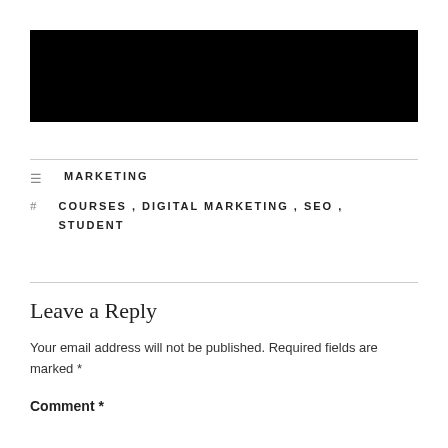[Figure (other): Black rectangle/image placeholder at top of page]
MARKETING
COURSES, DIGITAL MARKETING, SEO, STUDENT
Leave a Reply
Your email address will not be published. Required fields are marked *
Comment *